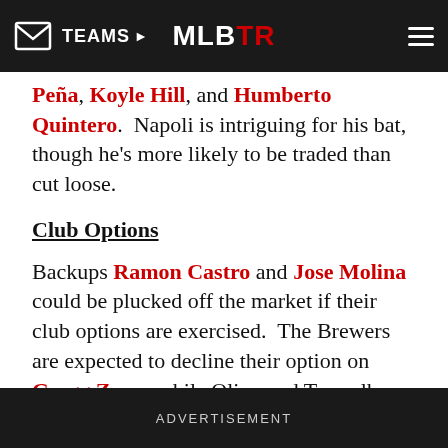TEAMS | MLBTR | [menu]
Peña, Koyle Hill, and Humberto Quintero. Napoli is intriguing for his bat, though he's more likely to be traded than cut loose.
Club Options
Backups Ramon Castro and Jose Molina could be plucked off the market if their club options are exercised. The Brewers are expected to decline their option on Gregg Zaun, while Olivo and Torrealba have mutual options.
Summary
Beyond V-Mart, it looks like a buyer's market for catchers. All but a few teams have decent young options behind the plate. A team like the Marlins, who are about to be seeking a veteran...
ADVERTISEMENT